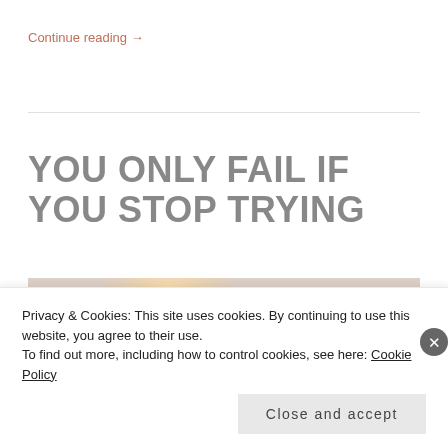Continue reading →
YOU ONLY FAIL IF YOU STOP TRYING
[Figure (photo): Blurred lifestyle photo showing warm bokeh lights and food/drink items on a table, soft focus with orange and beige tones]
Privacy & Cookies: This site uses cookies. By continuing to use this website, you agree to their use.
To find out more, including how to control cookies, see here: Cookie Policy
Close and accept